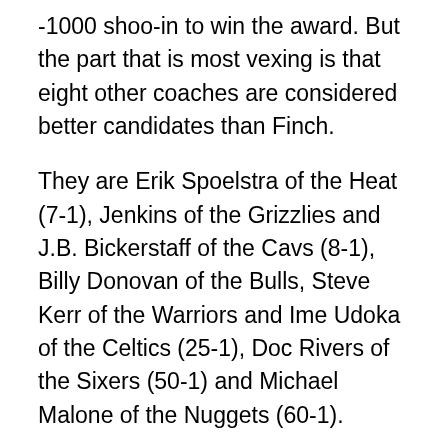-1000 shoo-in to win the award. But the part that is most vexing is that eight other coaches are considered better candidates than Finch.
They are Erik Spoelstra of the Heat (7-1), Jenkins of the Grizzlies and J.B. Bickerstaff of the Cavs (8-1), Billy Donovan of the Bulls, Steve Kerr of the Warriors and Ime Udoka of the Celtics (25-1), Doc Rivers of the Sixers (50-1) and Michael Malone of the Nuggets (60-1).
Williams is a worthy favorite because his team will easily finish with the best record, but has he really exceeded expectations after taking his team to the NBA Finals last season? Spoelstra went to the Finals two years ago with pretty much the same team. Donovan is reaping the